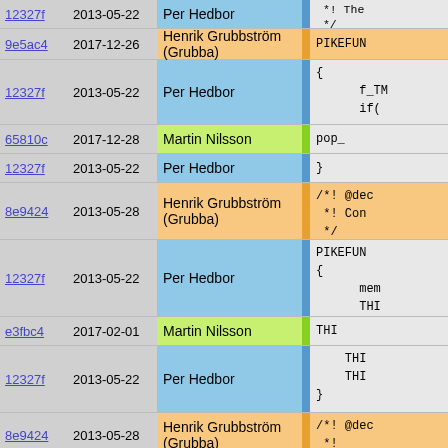| Hash | Date | Author |  | Code |
| --- | --- | --- | --- | --- |
| 12327f | 2013-05-22 | Per Hedbor |  | * ! The
*/ |
| 9e5ac4 | 2017-12-26 | Henrik Grubbström (Grubba) |  | PIKEFUN |
| 12327f | 2013-05-22 | Per Hedbor |  | {
  f_TM
  if( |
| 65810c | 2017-12-28 | Martin Nilsson |  | pop_ |
| 12327f | 2013-05-22 | Per Hedbor |  | } |
| 8e9424 | 2013-05-28 | Henrik Grubbström (Grubba) |  | /*! @dec
 *! Con
 */ |
| 12327f | 2013-05-22 | Per Hedbor |  | PIKEFUN
{
  mem
  THI |
| e3fbc4 | 2017-02-01 | Martin Nilsson |  | THI |
| 12327f | 2013-05-22 | Per Hedbor |  |   THI
  THI
} |
| 8e9424 | 2013-05-28 | Henrik Grubbström (Grubba) |  | /*! @dec
 *! |